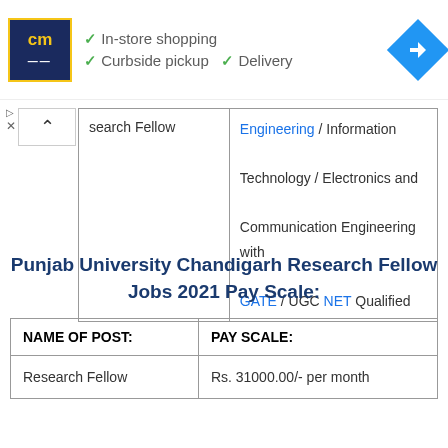[Figure (screenshot): Advertisement banner with cm logo, checkmarks for In-store shopping, Curbside pickup, Delivery, and a blue navigation arrow icon]
| (Research Fellow - partial) | Engineering / Information Technology / Electronics and Communication Engineering with GATE / UGC NET Qualified |
| --- | --- |
Punjab University Chandigarh Research Fellow Jobs 2021 Pay Scale:
| NAME OF POST: | PAY SCALE: |
| --- | --- |
| Research Fellow | Rs. 31000.00/- per month |